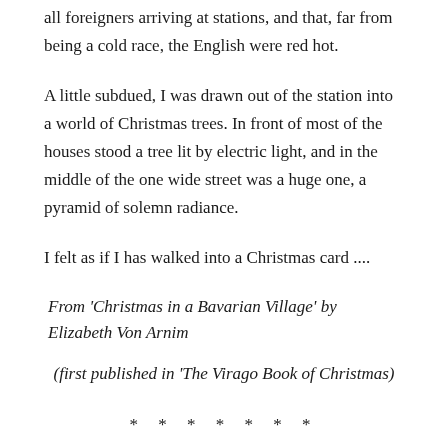all foreigners arriving at stations, and that, far from being a cold race, the English were red hot.
A little subdued, I was drawn out of the station into a world of Christmas trees. In front of most of the houses stood a tree lit by electric light, and in the middle of the one wide street was a huge one, a pyramid of solemn radiance.
I felt as if I has walked into a Christmas card ....
From ‘Christmas in a Bavarian Village’ by Elizabeth Von Arnim
(first published in ‘The Virago Book of Christmas)
* * * * * * *